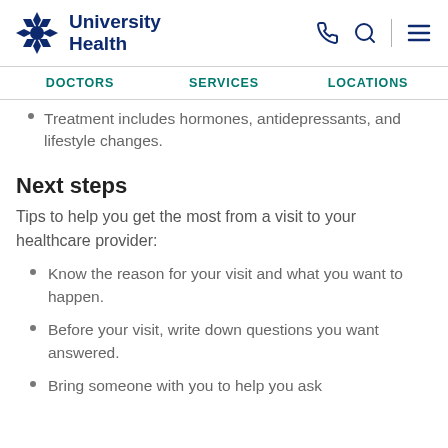University Health
DOCTORS   SERVICES   LOCATIONS
Treatment includes hormones, antidepressants, and lifestyle changes.
Next steps
Tips to help you get the most from a visit to your healthcare provider:
Know the reason for your visit and what you want to happen.
Before your visit, write down questions you want answered.
Bring someone with you to help you ask